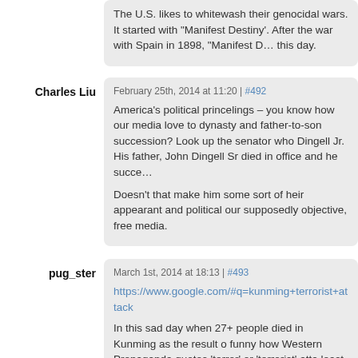The U.S. likes to whitewash their genocidal wars. It started with “Manifest Destiny’. After the war with Spain in 1898, “Manifest D… this day.
Charles Liu
February 25th, 2014 at 11:20 | #492
America’s political princelings – you know how our media love to dynasty and father-to-son succession? Look up the senator who Dingell Jr. His father, John Dingell Sr died in office and he succe…
Doesn’t that make him some sort of heir appearant and political our supposedly objective, free media.
pug_ster
March 1st, 2014 at 18:13 | #493
https://www.google.com/#q=kunming+terrorist+attack
In this sad day when 27+ people died in Kunming as the result o funny how Western Propaganda quotes ‘terror’ or ‘terrorist’ atta least it didn’t mention how the Uyghur are ‘oppressed.’
pug_ster
March 18th, 2014 at 17:39 | #494
http://www.kansascity.com/2014/03/12/4883696/us-now-calls-gu
I find this funny. Now America no longer have hunger strikes in i term non-religious fasting.’ This is even more funnier than ‘Foh…